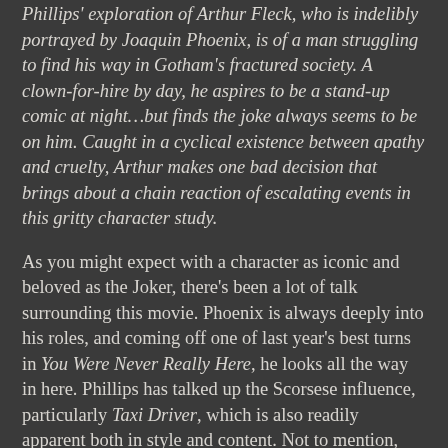Phillips' exploration of Arthur Fleck, who is indelibly portrayed by Joaquin Phoenix, is of a man struggling to find his way in Gotham's fractured society. A clown-for-hire by day, he aspires to be a stand-up comic at night…but finds the joke always seems to be on him. Caught in a cyclical existence between apathy and cruelty, Arthur makes one bad decision that brings about a chain reaction of escalating events in this gritty character study.
As you might expect with a character as iconic and beloved as the Joker, there's been a lot of talk surrounding this movie. Phoenix is always deeply into his roles, and coming off one of last year's best turns in You Were Never Really Here, he looks all the way in here. Phillips has talked up the Scorsese influence, particularly Taxi Driver, which is also readily apparent both in style and content. Not to mention, Robert De Niro shows up in a role that immediately calls to mind The King of Comedy.